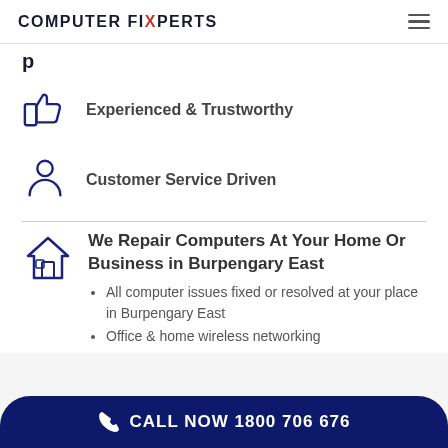COMPUTER FIXPERTS
Experienced & Trustworthy
Customer Service Driven
We Repair Computers At Your Home Or Business in Burpengary East
All computer issues fixed or resolved at your place in Burpengary East
Office & home wireless networking
CALL NOW 1800 706 676